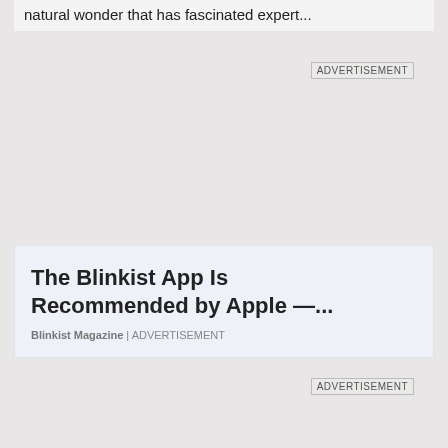natural wonder that has fascinated expert...
ADVERTISEMENT
The Blinkist App Is Recommended by Apple —...
Blinkist Magazine | ADVERTISEMENT
ADVERTISEMENT